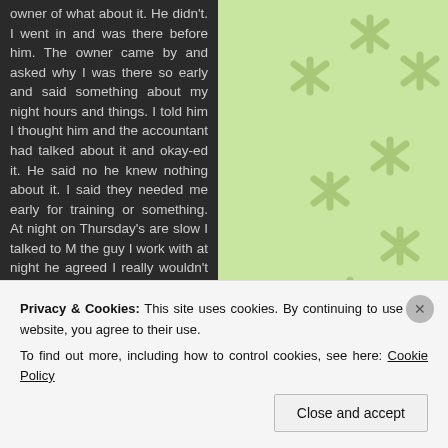owner of what about it. He didn't. I went in and was there before him. The owner came by and asked why I was there so early and said something about my night hours and things. I told him I thought him and the accountant had talked about it and okay-ed it. He said no he knew nothing about it. I said they needed me early for training or something. At night on Thursday's are slow I talked to M the guy I work with at night he agreed I really wouldn't be missed or needed it would be okay. That the accountant was supposed to get the okay from him. I would of talked to him had I known he didn't.
Privacy & Cookies: This site uses cookies. By continuing to use this website, you agree to their use.
To find out more, including how to control cookies, see here: Cookie Policy
Close and accept